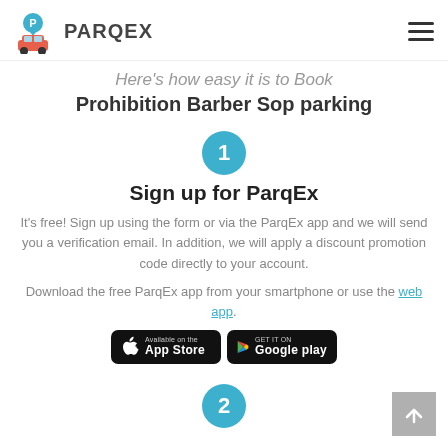PARQEX
Here's how easy it is to Book Prohibition Barber Sop parking
1
Sign up for ParqEx
It's free! Sign up using the form or via the ParqEx app and we will send you a verification email. In addition, we will apply a discount promotion code directly to your account.
Download the free ParqEx app from your smartphone or use the web app.
[Figure (other): App Store and Google Play download buttons]
2